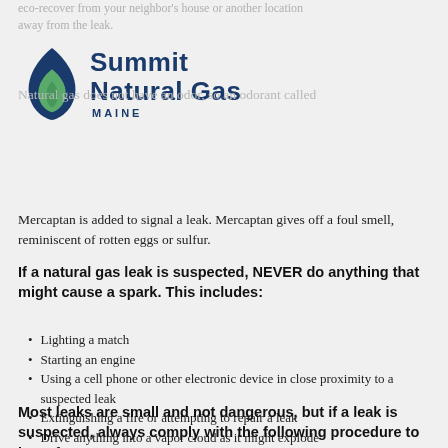eco-recover from your neighbor's house or another location away from the leak.
[Figure (logo): Summit Natural Gas Maine logo with blue flame and leaf graphic]
Natural gas does not have an odor, so an odorant called Mercaptan is added to signal a leak. Mercaptan gives off a foul smell, reminiscent of rotten eggs or sulfur.
If a natural gas leak is suspected, NEVER do anything that might cause a spark. This includes:
Lighting a match
Starting an engine
Using a cell phone or other electronic device in close proximity to a suspected leak
Extinguishing a fire or attempting to repair a leak
Drive anything into a vapor cloud as it might explode
Most leaks are small and not dangerous, but if a leak is suspected, always comply with the following procedure to be safe: